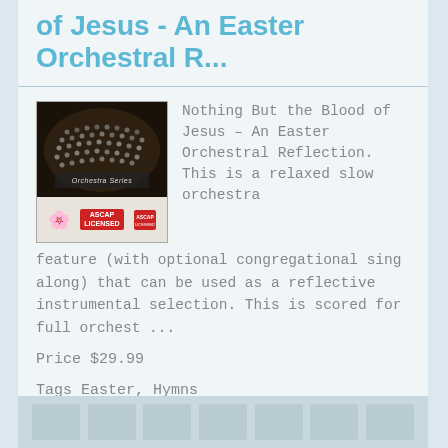of Jesus - An Easter Orchestral R...
[Figure (photo): Album cover for Nothing But the Blood of Jesus - An Easter Orchestral Reflection. Shows orchestra/choir from above with ASCAP Licensed badge and flower decoration.]
Nothing But the Blood of Jesus – An Easter Orchestral Reflection.  This is a relaxed slow orchestra feature (with optional congregational sing along) that can be used as a reflective instrumental selection.  This is scored for full orchest ...
Price  $29.99
Tags  Easter, Hymns